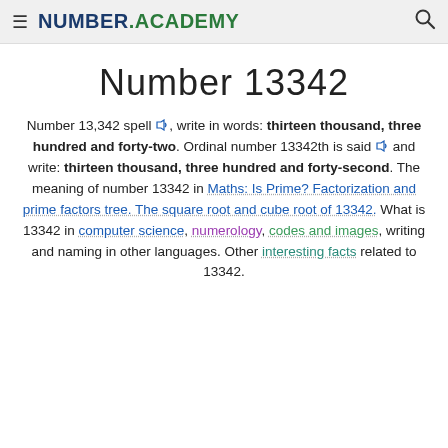NUMBER.ACADEMY
Number 13342
Number 13,342 spell 🔊, write in words: thirteen thousand, three hundred and forty-two. Ordinal number 13342th is said 🔊 and write: thirteen thousand, three hundred and forty-second. The meaning of number 13342 in Maths: Is Prime? Factorization and prime factors tree. The square root and cube root of 13342. What is 13342 in computer science, numerology, codes and images, writing and naming in other languages. Other interesting facts related to 13342.